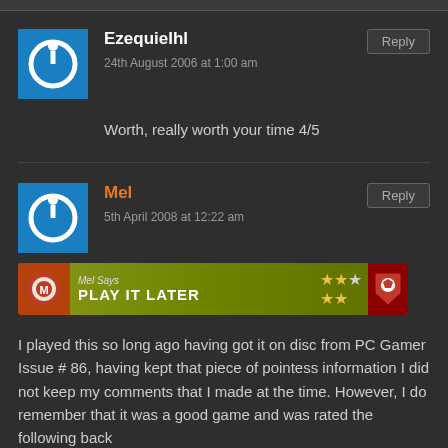Ezequielhl
24th August 2006 at 1:00 am
Worth, really worth your time 4/5
Mel
5th April 2008 at 12:22 am
[Figure (other): Banner image saying 'Mel Says PLAY IT LATER' with stars rating and Arsenal shield logo on olive/green background]
I played this so long ago having got it on disc from PC Gamer Issue # 86, having kept that piece of pointess information I did not keep my comments that I made at the time. However, I do remember that it was a good game and was rated the following back